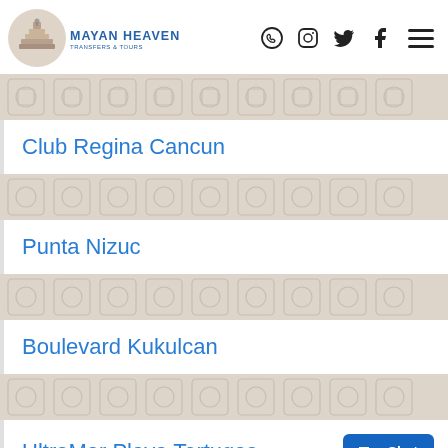[Figure (logo): Mayan Heaven Transfers & Tours logo with circular emblem showing a Mayan pyramid]
Club Regina Cancun
Punta Nizuc
Boulevard Kukulcan
UltraMar Playa Tortugas